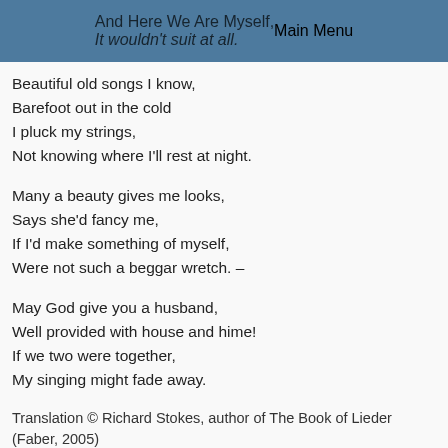Main Menu
Beautiful old songs I know,
Barefoot out in the cold
I pluck my strings,
Not knowing where I'll rest at night.
Many a beauty gives me looks,
Says she'd fancy me,
If I'd make something of myself,
Were not such a beggar wretch. –
May God give you a husband,
Well provided with house and hime!
If we two were together,
My singing might fade away.
Translation © Richard Stokes, author of The Book of Lieder (Faber, 2005)
If you would like to use our texts and translations,